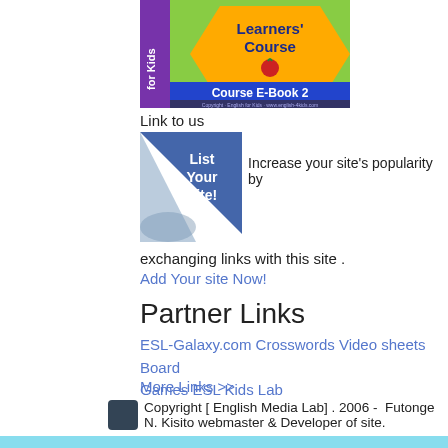[Figure (illustration): English for Kids Learners' Course E-Book 2 cover image with green and orange design, apple icon, and blue banner]
Link to us
[Figure (illustration): List Your Site! triangular banner image with folded page effect]
Increase your site's popularity by
exchanging links with this site .
Add Your site Now!
Partner Links
ESL-Galaxy.com Crosswords Video sheets Board Games ESL Kids Lab
More Links >>
Copyright [ English Media Lab] . 2006 -  Futonge N. Kisito webmaster & Developer of site.